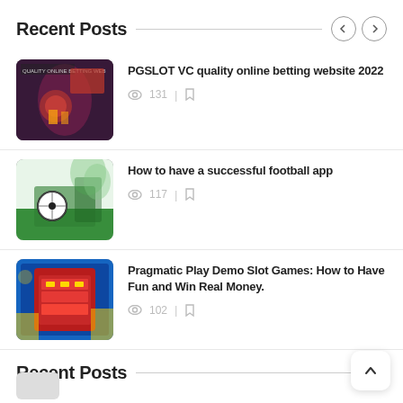Recent Posts
PGSLOT VC quality online betting website 2022 | 131 views
How to have a successful football app | 117 views
Pragmatic Play Demo Slot Games: How to Have Fun and Win Real Money. | 102 views
Recent Posts